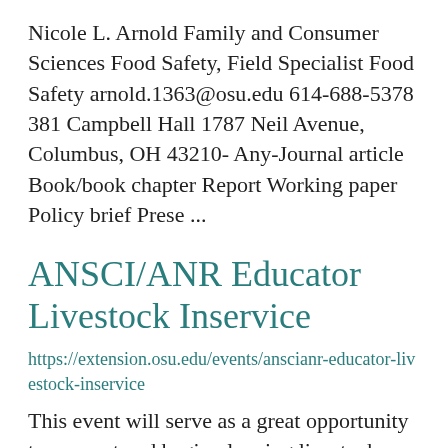Nicole L. Arnold Family and Consumer Sciences Food Safety, Field Specialist Food Safety arnold.1363@osu.edu 614-688-5378 381 Campbell Hall 1787 Neil Avenue, Columbus, OH 43210- Any-Journal article Book/book chapter Report Working paper Policy brief Prese ...
ANSCI/ANR Educator Livestock Inservice
https://extension.osu.edu/events/anscianr-educator-livestock-inservice
This event will serve as a great opportunity to connect and begin planning livestock-focused programs for 2023.